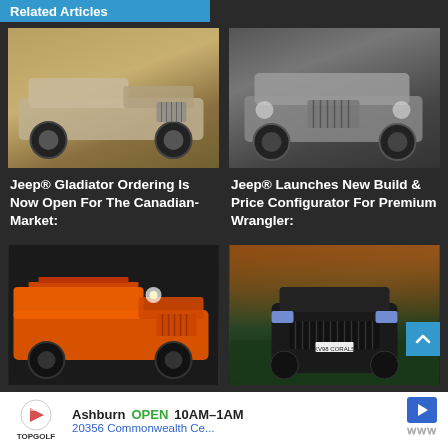Related Articles
[Figure (photo): Silver Jeep Gladiator pickup truck on dusty terrain with hills in background]
Jeep® Gladiator Ordering Is Now Open For The Canadian-Market:
[Figure (photo): Silver Jeep Wrangler in dark garage setting]
Jeep® Launches New Build & Price Configurator For Premium Wrangler:
[Figure (photo): Orange Jeep Gladiator at auto show]
2020 Jeep Gladiator Dealer Order Dates Revealed:
[Figure (photo): Black Jeep SUV front view on grassy field at sunset]
Jeep® Brazil Introduces 80th Anniversary Editions To
Ashburn  OPEN  10AM–1AM   20356 Commonwealth Ce...